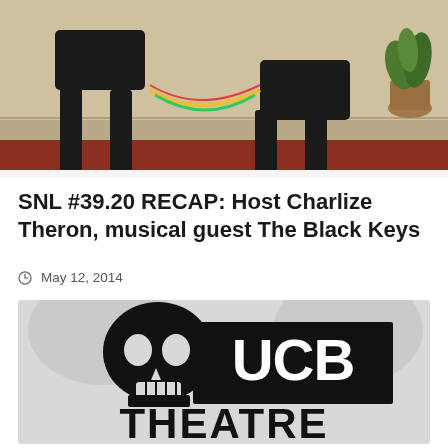[Figure (photo): Photo of performers on stage, two figures with legs visible against a beige/tan wall background with a red floor stripe and a potted plant on the right. A colorful rope or prop connects them.]
SNL #39.20 RECAP: Host Charlize Theron, musical guest The Black Keys
May 12, 2014
[Figure (logo): UCB Theatre logo — a skull graphic on the left overlapping a black rectangle containing white bold text 'UCB', with 'THEATRE' in large bold black letters below.]